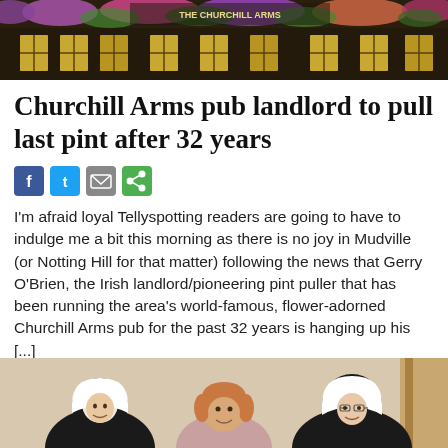[Figure (photo): Exterior of Churchill Arms pub with flower decorations and dark timber facade]
Churchill Arms pub landlord to pull last pint after 32 years
[Figure (infographic): Social media sharing icons: Facebook, Twitter, Email, Share]
I'm afraid loyal Tellyspotting readers are going to have to indulge me a bit this morning as there is no joy in Mudville (or Notting Hill for that matter) following the news that Gerry O'Brien, the Irish landlord/pioneering pint puller that has been running the area's world-famous, flower-adorned Churchill Arms pub for the past 32 years is hanging up his [...]
Read more
[Figure (photo): Three smiling women, two wearing black and white nun habits flanking a woman in the centre]